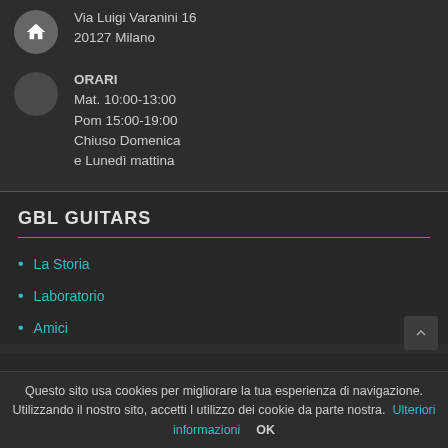Via Luigi Varanini 16
20127 Milano
ORARI
Mat. 10:00-13:00
Pom 15:00-19:00
Chiuso Domenica e Lunedì mattina
GBL GUITARS
La Storia
Laboratorio
Amici
ACQUISTI
Questo sito usa cookies per migliorare la tua esperienza di navigazione. Utilizzando il nostro sito, accetti l utilizzo dei cookie da parte nostra.  Ulteriori informazioni     OK